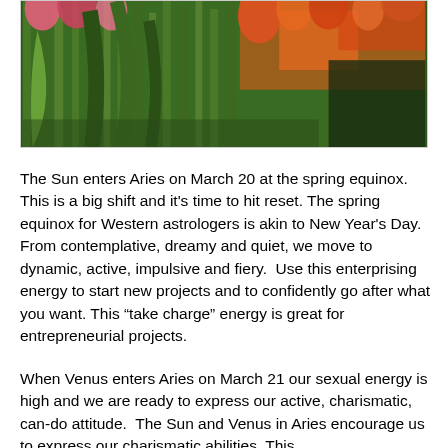[Figure (photo): Close-up photo of a tulip field with green stems and pink, red and orange tulip blooms in the background, sunlit outdoor scene]
The Sun enters Aries on March 20 at the spring equinox. This is a big shift and it's time to hit reset. The spring equinox for Western astrologers is akin to New Year's Day. From contemplative, dreamy and quiet, we move to dynamic, active, impulsive and fiery.  Use this enterprising energy to start new projects and to confidently go after what you want. This “take charge” energy is great for entrepreneurial projects.
When Venus enters Aries on March 21 our sexual energy is high and we are ready to express our active, charismatic, can-do attitude.  The Sun and Venus in Aries encourage us to express our charismatic abilities. This